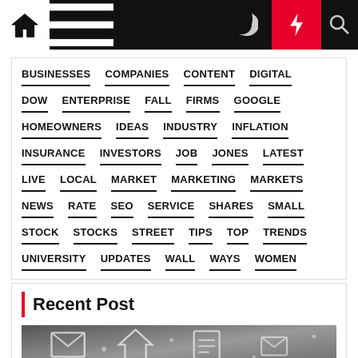Navigation bar with home, menu, moon, flash, and search icons
BUSINESSES
COMPANIES
CONTENT
DIGITAL
DOW
ENTERPRISE
FALL
FIRMS
GOOGLE
HOMEOWNERS
IDEAS
INDUSTRY
INFLATION
INSURANCE
INVESTORS
JOB
JONES
LATEST
LIVE
LOCAL
MARKET
MARKETING
MARKETS
NEWS
RATE
SEO
SERVICE
SHARES
SMALL
STOCK
STOCKS
STREET
TIPS
TOP
TRENDS
UNIVERSITY
UPDATES
WALL
WAYS
WOMEN
Recent Post
[Figure (photo): Grayscale photo with chalk-drawn icons of envelopes, house, document and other symbols on dark background]